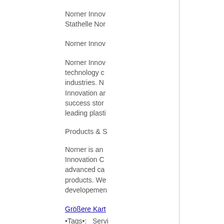Norner Innov...
Stathelle Nor...
Norner Innov...
Norner Innov... technology c... industries. No... Innovation an... success stor... leading plasti...
Products & S...
Norner is an... Innovation Ce... advanced ca... products. We... developemen...
Größere Kart...
•Tags•:   Servi... ressources  |...